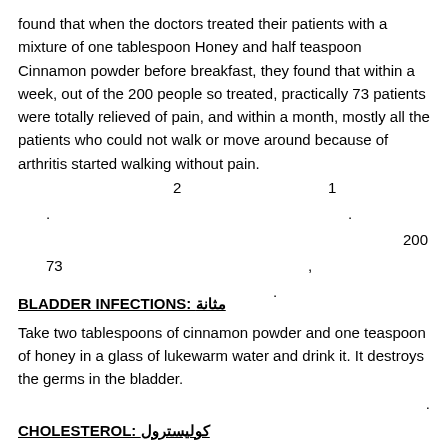found that when the doctors treated their patients with a mixture of one tablespoon Honey and half teaspoon Cinnamon powder before breakfast, they found that within a week, out of the 200 people so treated, practically 73 patients were totally relieved of pain, and within a month, mostly all the patients who could not walk or move around because of arthritis started walking without pain.
2  1
.
                                                                   .
                                                                              200
73                                                          ,
                              .
BLADDER INFECTIONS:
Take two tablespoons of cinnamon powder and one teaspoon of honey in a glass of lukewarm water and drink it. It destroys the germs in the bladder.
.
CHOLESTEROL: